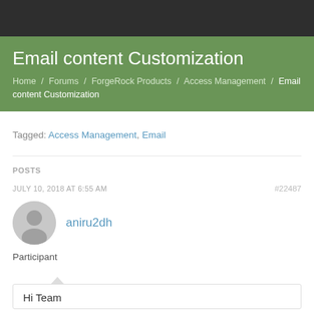Email content Customization
Home / Forums / ForgeRock Products / Access Management / Email content Customization
Tagged: Access Management, Email
POSTS
JULY 10, 2018 AT 6:55 AM  #22487
aniru2dh
Participant
Hi Team